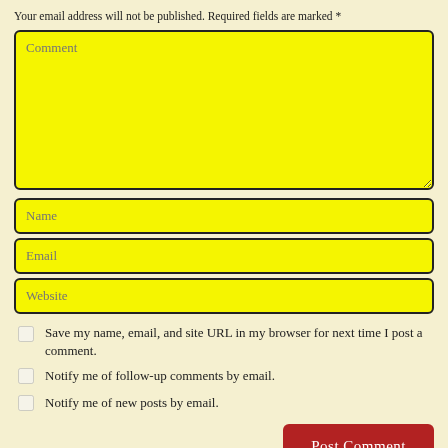Your email address will not be published. Required fields are marked *
Comment (textarea placeholder)
Name (input placeholder)
Email (input placeholder)
Website (input placeholder)
Save my name, email, and site URL in my browser for next time I post a comment.
Notify me of follow-up comments by email.
Notify me of new posts by email.
Post Comment